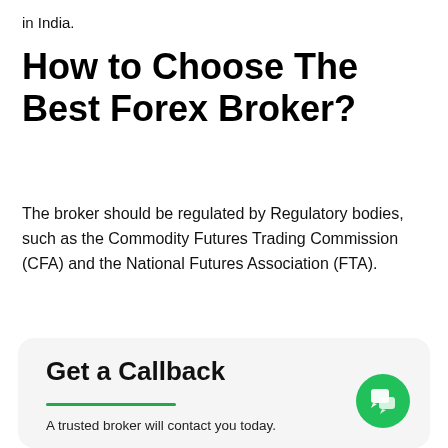in India.
How to Choose The Best Forex Broker?
The broker should be regulated by Regulatory bodies, such as the Commodity Futures Trading Commission (CFA) and the National Futures Association (FTA).
Get a Callback
A trusted broker will contact you today.
First Name: *
First Name